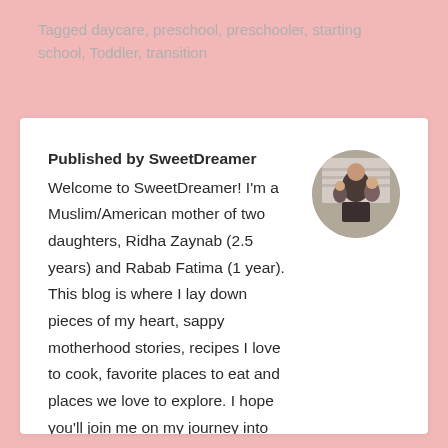Tagged daycare, preschool, preschooler, starting school, Toddler, transition
Published by SweetDreamer Welcome to SweetDreamer! I'm a Muslim/American mother of two daughters, Ridha Zaynab (2.5 years) and Rabab Fatima (1 year). This blog is where I lay down pieces of my heart, sappy motherhood stories, recipes I love to cook, favorite places to eat and places we love to explore. I hope you'll join me on my journey into motherhood and all that comes with it. I would love to share and hear back from you! Happy Reading
[Figure (photo): A circular avatar photo showing a woman with two children]